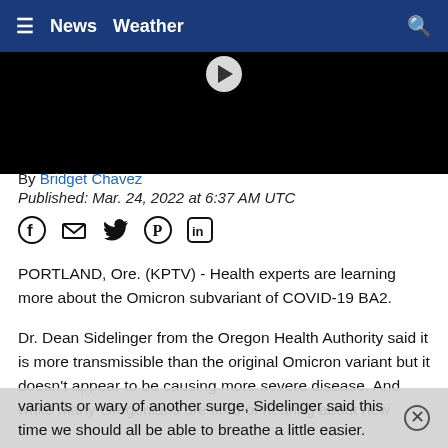≡  News  Weather  🔍
[Figure (screenshot): Black video thumbnail with partial play button visible at top]
By Bridget Chavez
Published: Mar. 24, 2022 at 6:37 AM UTC
[Figure (other): Social share icons: Facebook, email, Twitter, Pinterest, LinkedIn]
PORTLAND, Ore. (KPTV) - Health experts are learning more about the Omicron subvariant of COVID-19 BA2.
Dr. Dean Sidelinger from the Oregon Health Authority said it is more transmissible than the original Omicron variant but it doesn't appear to be causing more severe disease. And while many Oregonians are tired of hearing about new variants or wary of another surge, Sidelinger said this time we should all be able to breathe a little easier.